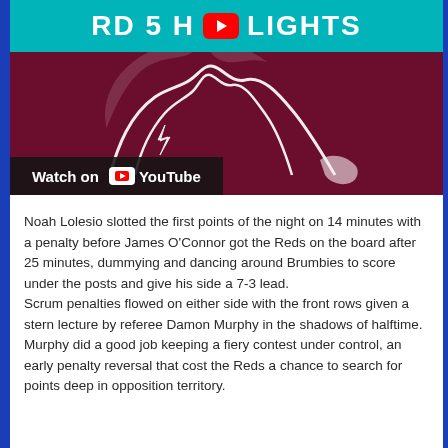[Figure (screenshot): YouTube video thumbnail showing 'RD 5 HIGHLIGHTS' text on a teal banner, a maroon background with a white lion logo, and a 'Watch on YouTube' badge at the bottom left.]
Noah Lolesio slotted the first points of the night on 14 minutes with a penalty before James O'Connor got the Reds on the board after 25 minutes, dummying and dancing around Brumbies to score under the posts and give his side a 7-3 lead.
Scrum penalties flowed on either side with the front rows given a stern lecture by referee Damon Murphy in the shadows of halftime.
Murphy did a good job keeping a fiery contest under control, an early penalty reversal that cost the Reds a chance to search for points deep in opposition territory.